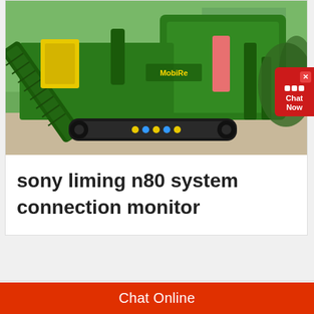[Figure (photo): A large green industrial mining/crushing machine with crawler tracks, conveyor belt, and heavy machinery components, photographed outdoors on a concrete surface.]
sony liming n80 system connection monitor
Chat Now
Chat Online